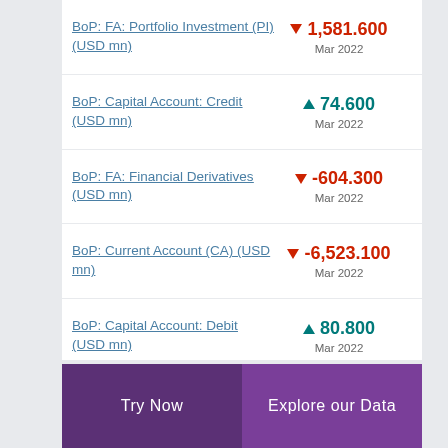BoP: FA: Portfolio Investment (PI) (USD mn)
BoP: Capital Account: Credit (USD mn)
BoP: FA: Financial Derivatives (USD mn)
BoP: Current Account (CA) (USD mn)
BoP: Capital Account: Debit (USD mn)
Try Now | Explore our Data